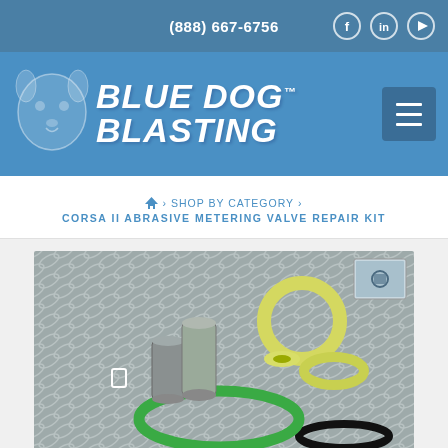(888) 667-6756
[Figure (logo): Blue Dog Blasting logo with blue dog illustration and bold white text on blue background, with hamburger menu button]
› SHOP BY CATEGORY › CORSA II ABRASIVE METERING VALVE REPAIR KIT
[Figure (photo): Product photo showing Corsa II Abrasive Metering Valve Repair Kit parts: green rubber seal, metal bushings/sleeves, and yellow polyurethane seals/washers laid on a diamond plate metal surface. Small thumbnail image visible in upper right corner.]